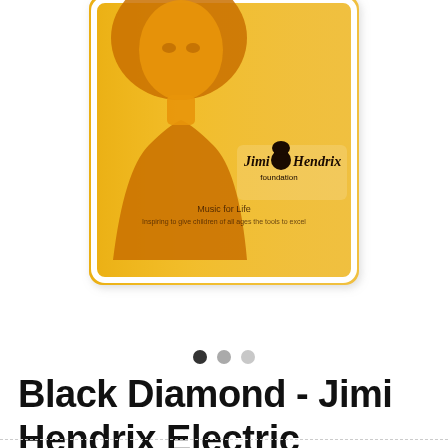[Figure (photo): Product photo of a Black Diamond Jimi Hendrix Foundation guitar string package. The package has a bright yellow/orange background with a stylized silhouette portrait of Jimi Hendrix. The Jimi Hendrix Foundation logo with a small head icon appears on the package along with the text 'Music for Life'. The package is white-bordered and photographed against a white background.]
● ○ ○
Black Diamond - Jimi Hendrix Electric Strings - 11 - 50